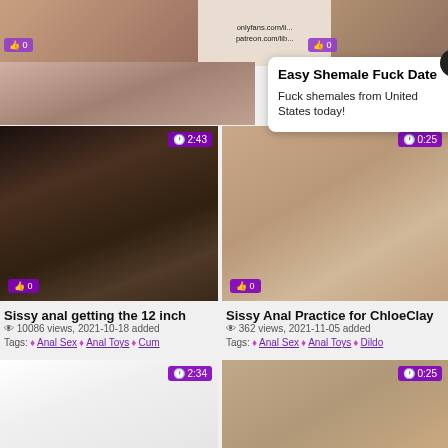[Figure (screenshot): Adult video website screenshot showing thumbnails and an ad overlay]
Easy Shemale Fuck Date
Fuck shemales from United States today!
Sissy anal getting the 12 inch
10086 views, 2021-10-18 added
Tags: Anal Sex Anal Toys Cum
Sissy Anal Practice for ChloeClay
362 views, 2021-11-05 added
Tags: Anal Sex Anal Toys Dildo